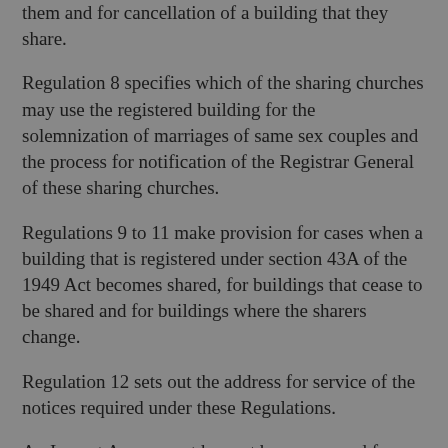them and for cancellation of a building that they share.
Regulation 8 specifies which of the sharing churches may use the registered building for the solemnization of marriages of same sex couples and the process for notification of the Registrar General of these sharing churches.
Regulations 9 to 11 make provision for cases when a building that is registered under section 43A of the 1949 Act becomes shared, for buildings that cease to be shared and for buildings where the sharers change.
Regulation 12 sets out the address for service of the notices required under these Regulations.
An Impact Assessment has not been prepared for this instrument as no cost on business is foreseen, but an impact assessment was published alongside the 2013 Act and this is available through the DCMS website at http://...